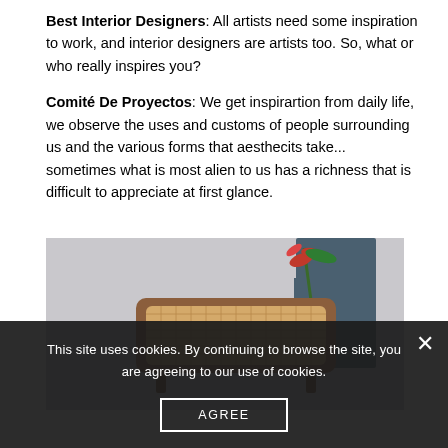Best Interior Designers: All artists need some inspiration to work, and interior designers are artists too. So, what or who really inspires you?
Comité De Proyectos: We get inspirartion from daily life, we observe the uses and customs of people surrounding us and the various forms that aesthecits take... sometimes what is most alien to us has a richness that is difficult to appreciate at first glance.
[Figure (photo): A woven rattan/cane furniture piece (sideboard or bench) with wooden legs on a grey background. A person in denim clothing is partially visible holding a red tropical flower.]
This site uses cookies. By continuing to browse the site, you are agreeing to our use of cookies.